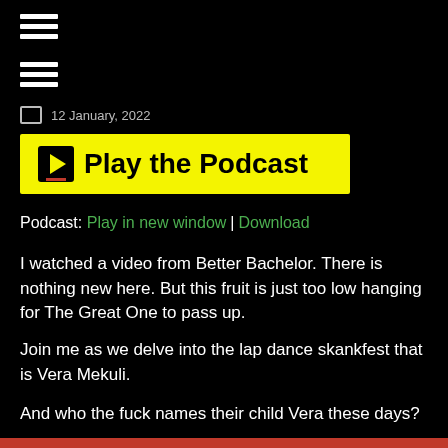☰ (hamburger menu icon) x2
12 January, 2022
[Figure (other): Yellow play button banner reading 'Play the Podcast']
Podcast: Play in new window | Download
I watched a video from Better Bachelor. There is nothing new here. But this fruit is just too low hanging for The Great One to pass up.
Join me as we delve into the lap dance skankfest that is Vera Mekuli.
And who the fuck names their child Vera these days?